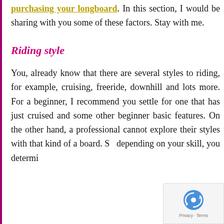purchasing your longboard. In this section, I would be sharing with you some of these factors. Stay with me.
Riding style
You, already know that there are several styles to riding, for example, cruising, freeride, downhill and lots more. For a beginner, I recommend you settle for one that has just cruised and some other beginner basic features. On the other hand, a professional cannot explore their styles with that kind of a board. So depending on your skill, you determine...